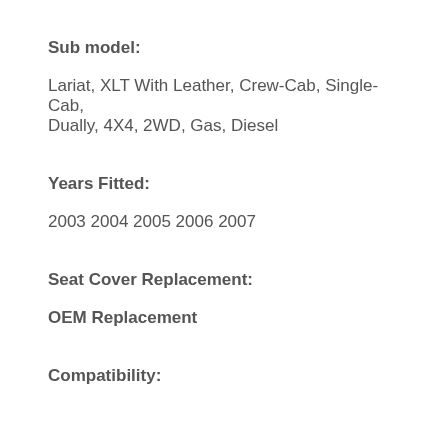Sub model:
Lariat, XLT With Leather, Crew-Cab, Single-Cab, Dually, 4X4, 2WD, Gas, Diesel
Years Fitted:
2003 2004 2005 2006 2007
Seat Cover Replacement:
OEM Replacement
Compatibility: